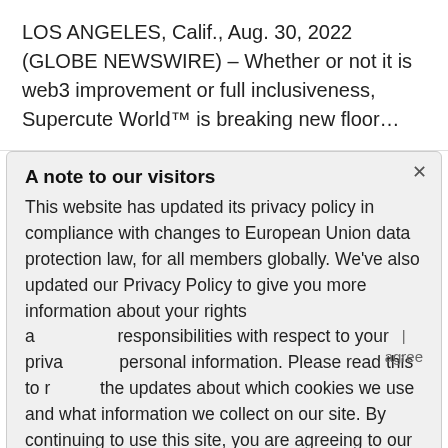LOS ANGELES, Calif., Aug. 30, 2022 (GLOBE NEWSWIRE) – Whether or not it is web3 improvement or full inclusiveness, Supercute World™ is breaking new floor…
A note to our visitors
This website has updated its privacy policy in compliance with changes to European Union data protection law, for all members globally. We've also updated our Privacy Policy to give you more information about your rights and responsibilities with respect to your privacy and personal information. Please read this to review the updates about which cookies we use and what information we collect on our site. By continuing to use this site, you are agreeing to our updated privacy policy.